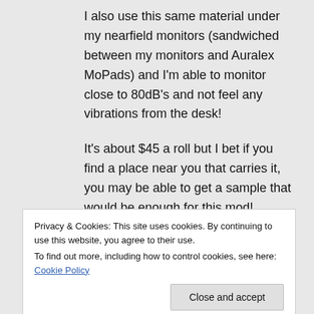I also use this same material under my nearfield monitors (sandwiched between my monitors and Auralex MoPads) and I'm able to monitor close to 80dB's and not feel any vibrations from the desk!
It's about $45 a roll but I bet if you find a place near you that carries it, you may be able to get a sample that would be enough for this mod!
4. Reply
Privacy & Cookies: This site uses cookies. By continuing to use this website, you agree to their use. To find out more, including how to control cookies, see here: Cookie Policy
Close and accept
cans. No dampening because I